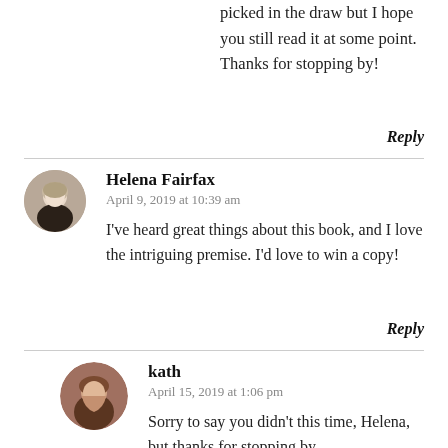picked in the draw but I hope you still read it at some point. Thanks for stopping by!
Reply
Helena Fairfax
April 9, 2019 at 10:39 am
I've heard great things about this book, and I love the intriguing premise. I'd love to win a copy!
Reply
kath
April 15, 2019 at 1:06 pm
Sorry to say you didn't this time, Helena, but thanks for stopping by